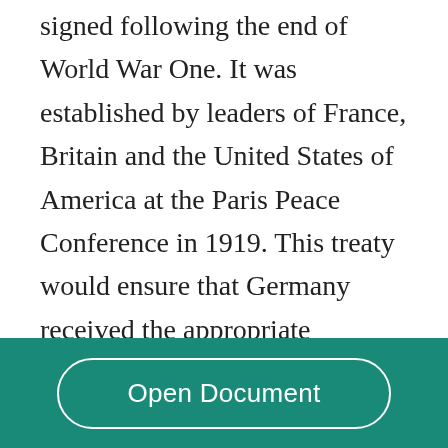signed following the end of World War One. It was established by leaders of France, Britain and the United States of America at the Paris Peace Conference in 1919. This treaty would ensure that Germany received the appropriate punishments for World War One. However, the fairness of the treaty was highly controversial. These terms included Germany having to pay reparations to the Allies, Germany having to accept the war guilt, the seizure of German territories and colonies to the allies,
Open Document